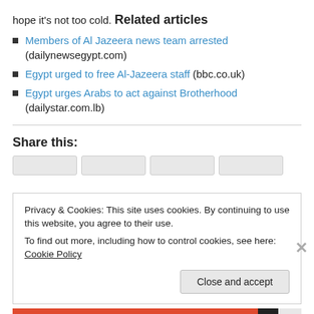hope it's not too cold.
Related articles
Members of Al Jazeera news team arrested (dailynewsegypt.com)
Egypt urged to free Al-Jazeera staff (bbc.co.uk)
Egypt urges Arabs to act against Brotherhood (dailystar.com.lb)
Share this:
Privacy & Cookies: This site uses cookies. By continuing to use this website, you agree to their use.
To find out more, including how to control cookies, see here: Cookie Policy